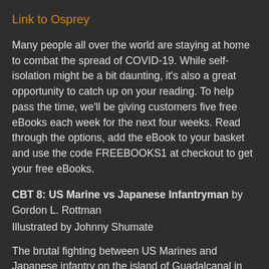Link to Osprey
Many people all over the world are staying at home to combat the spread of COVID-19. While self-isolation might be a bit daunting, it's also a great opportunity to catch up on your reading. To help pass the time, we'll be giving customers five free eBooks each week for the next four weeks. Read through the options, add the eBook to your basket and use the code FREEBOOKS1 at checkout to get your free eBooks.
CBT 8: US Marine vs Japanese Infantryman by Gordon L. Rottman
Illustrated by Johnny Shumate
The brutal fighting between US Marines and Japanese infantry on the island of Guadalcanal in many ways came to typify the island-hopping war in the Pacific. This book not only explores the differing tactics and equipment used by the two combatants but also shows how the challenges of fighting in inhospitable tropical jungles impacted on soldiers on the ground, so combatants had to deal not only with their